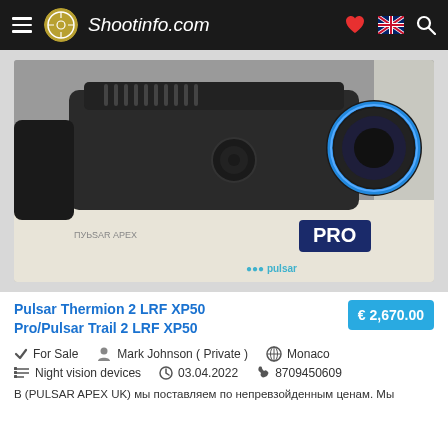Shootinfo.com
[Figure (photo): Close-up photo of a Pulsar thermal imaging scope/monocular (black body with blue ring accent) resting on a white box with 'PRO' text visible. A Pulsar watermark appears at bottom right.]
Pulsar Thermion 2 LRF XP50 Pro/Pulsar Trail 2 LRF XP50
€ 2,670.00
For Sale   Mark Johnson ( Private )   Monaco
Night vision devices   03.04.2022   8709450609
В (PULSAR APEX UK) мы поставляем по непревзойденным ценам. Мы